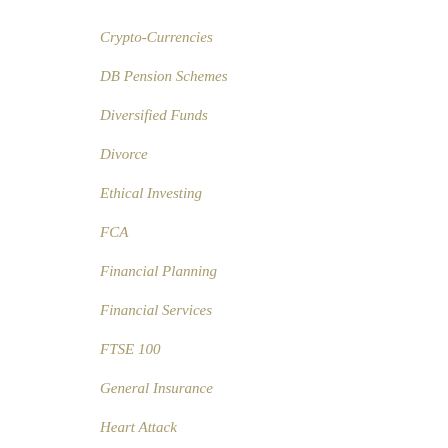Crypto-Currencies
DB Pension Schemes
Diversified Funds
Divorce
Ethical Investing
FCA
Financial Planning
Financial Services
FTSE 100
General Insurance
Heart Attack
HMRC
IHT